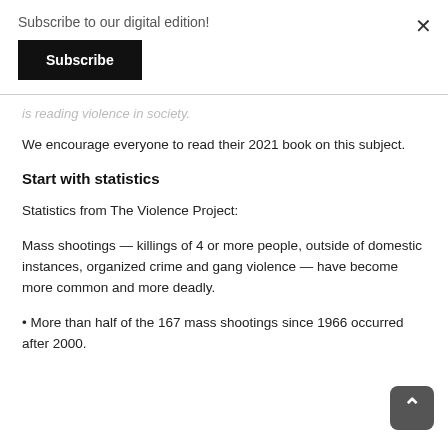Subscribe to our digital edition!
[Figure (other): Black Subscribe button]
is reading violence in society.
We encourage everyone to read their 2021 book on this subject.
Start with statistics
Statistics from The Violence Project:
Mass shootings — killings of 4 or more people, outside of domestic instances, organized crime and gang violence — have become more common and more deadly.
• More than half of the 167 mass shootings since 1966 occurred after 2000.